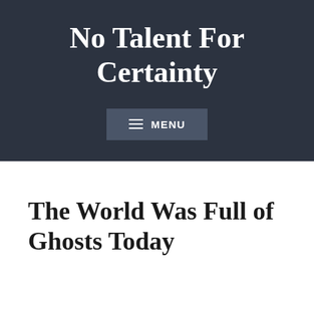No Talent For Certainty
☰ MENU
The World Was Full of Ghosts Today